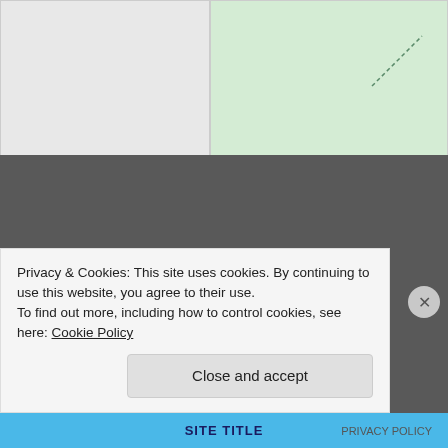[Figure (map): A map image split into two sections: a gray/white left half and a light green right half with a dashed diagonal line in the upper right corner.]
Share this:
Print  Twitter  Facebook
Like
Privacy & Cookies: This site uses cookies. By continuing to use this website, you agree to their use.
To find out more, including how to control cookies, see here: Cookie Policy
Close and accept